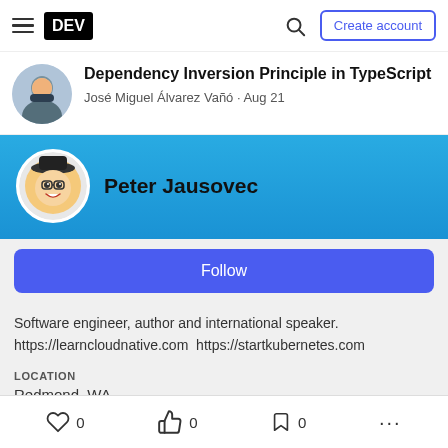DEV — Create account
Dependency Inversion Principle in TypeScript
José Miguel Álvarez Vañó - Aug 21
Peter Jausovec
Follow
Software engineer, author and international speaker. https://learncloudnative.com https://startkubernetes.com
LOCATION
Redmond, WA
0  0  0  ...